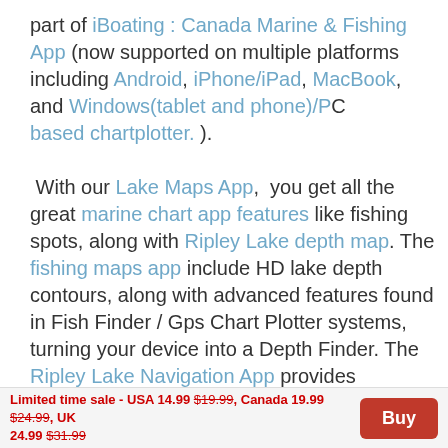part of iBoating : Canada Marine & Fishing App (now supported on multiple platforms including Android, iPhone/iPad, MacBook, and Windows(tablet and phone)/PC based chartplotter. ).

 With our Lake Maps App,  you get all the great marine chart app features like fishing spots, along with Ripley Lake depth map. The fishing maps app include HD lake depth contours, along with advanced features found in Fish Finder / Gps Chart Plotter systems, turning your device into a Depth Finder. The Ripley Lake Navigation App provides advanced features of a Marine Chartplotter including adjusting water level offset and custom depth
Limited time sale - USA 14.99 $19.99, Canada 19.99 $24.99, UK 24.99 $31.99   Buy